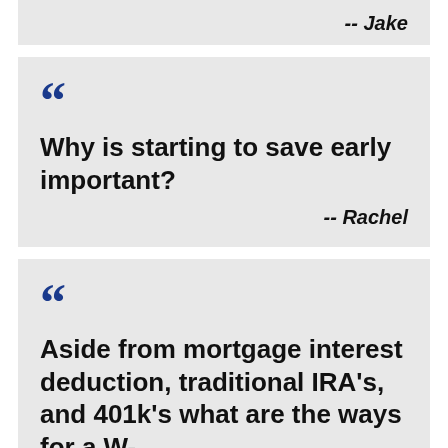-- Jake
Why is starting to save early important? -- Rachel
Aside from mortgage interest deduction, traditional IRA's, and 401k's what are the ways for a W-